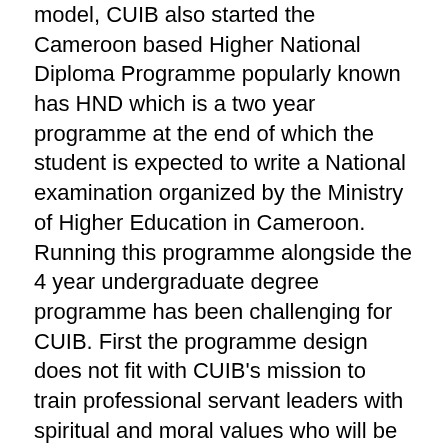model, CUIB also started the Cameroon based Higher National Diploma Programme popularly known has HND which is a two year programme at the end of which the student is expected to write a National examination organized by the Ministry of Higher Education in Cameroon. Running this programme alongside the 4 year undergraduate degree programme has been challenging for CUIB. First the programme design does not fit with CUIB's mission to train professional servant leaders with spiritual and moral values who will be Job creators versus Job seekers. Second, it is too certificate oriented.
Third, it places language, English and French as a core component of Assessment thus disadvantaging students who are not gifted in linguistic intelligence. Fourth, the curriculum was not designed to take into consideration the BMB system in terms of facilitating student mobility in a global economy. Students therefore who do the programme and want to transition to the BMD system often have a lot of problems in terms of credit transfer system as adopted by the Bologna agreement to facilitate student mobility between institutions. Fifth, certain skills and competences are necessary today if students have to be globally competitive. Providing these skills